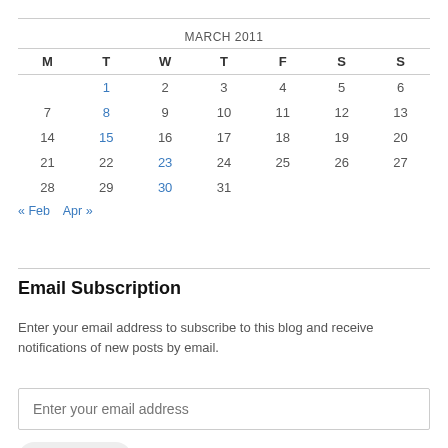| M | T | W | T | F | S | S |
| --- | --- | --- | --- | --- | --- | --- |
|  | 1 | 2 | 3 | 4 | 5 | 6 |
| 7 | 8 | 9 | 10 | 11 | 12 | 13 |
| 14 | 15 | 16 | 17 | 18 | 19 | 20 |
| 21 | 22 | 23 | 24 | 25 | 26 | 27 |
| 28 | 29 | 30 | 31 |  |  |  |
« Feb   Apr »
Email Subscription
Enter your email address to subscribe to this blog and receive notifications of new posts by email.